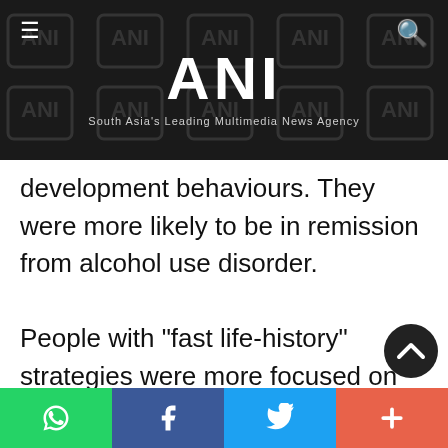ANI — South Asia's Leading Multimedia News Agency
development behaviours. They were more likely to be in remission from alcohol use disorder.
People with "fast life-history" strategies were more focused on immediate rewards and showed comparatively reduced concern for personal health. Researchers suspected people with alcohol use disorder who exhibit faster life-history strategies may face grea
WhatsApp | Facebook | Twitter | More